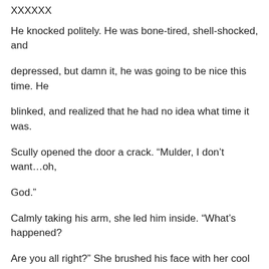XXXXXX
He knocked politely. He was bone-tired, shell-shocked, and
depressed, but damn it, he was going to be nice this time. He
blinked, and realized that he had no idea what time it was.
Scully opened the door a crack. “Mulder, I don’t want…oh,
God.”
Calmly taking his arm, she led him inside. “What’s happened?
Are you all right?” She brushed his face with her cool hands, and